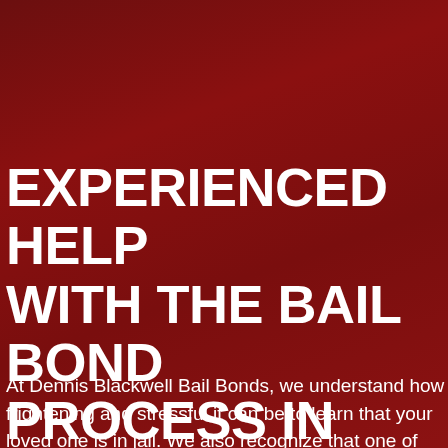EXPERIENCED HELP WITH THE BAIL BOND PROCESS IN COLORADO SPRINGS
At Dennis Blackwell Bail Bonds, we understand how frightening and stressful it can be to learn that your loved one is in jail. We also recognize that one of your first